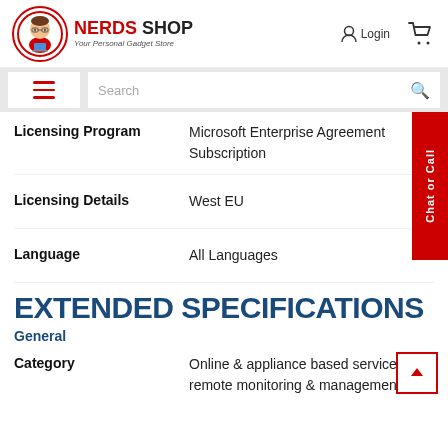NERDS SHOP Your Personal Gadget Store
| Field | Value |
| --- | --- |
| Licensing Program | Microsoft Enterprise Agreement Subscription |
| Licensing Details | West EU |
| Language | All Languages |
EXTENDED SPECIFICATIONS
General
| Field | Value |
| --- | --- |
| Category | Online & appliance based services remote monitoring & management data |